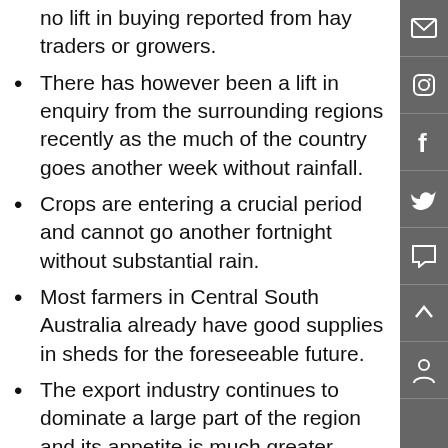no lift in buying reported from hay traders or growers.
There has however been a lift in enquiry from the surrounding regions recently as the much of the country goes another week without rainfall.
Crops are entering a crucial period and cannot go another fortnight without substantial rain.
Most farmers in Central South Australia already have good supplies in sheds for the foreseeable future.
The export industry continues to dominate a large part of the region and its appetite is much greater.
Many growers continue to sit out of the market and are unwilling to part with hay until prices firm. This may not occur however and we could see growers try and off load feed later in the year.
Cereal hay: +/-$0 ($110 to 140/t). Prices remain steady this week.